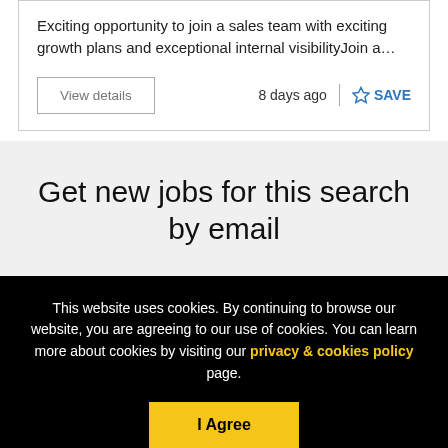Exciting opportunity to join a sales team with exciting growth plans and exceptional internal visibilityJoin a…
View details
8 days ago
SAVE
Get new jobs for this search by email
This website uses cookies. By continuing to browse our website, you are agreeing to our use of cookies. You can learn more about cookies by visiting our privacy & cookies policy page.
I Agree